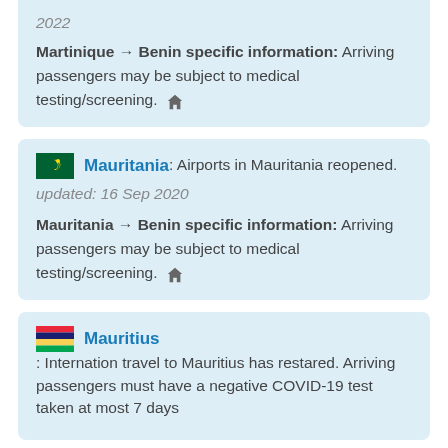2022 — Martinique → Benin specific information: Arriving passengers may be subject to medical testing/screening.
Mauritania: Airports in Mauritania reopened. updated: 16 Sep 2020 — Mauritania → Benin specific information: Arriving passengers may be subject to medical testing/screening.
Mauritius: Internation travel to Mauritius has restared. Arriving passengers must have a negative COVID-19 test taken at most 7 days